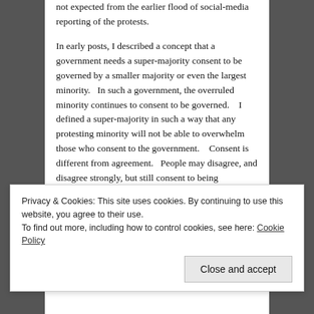not expected from the earlier flood of social-media reporting of the protests.

In early posts, I described a concept that a government needs a super-majority consent to be governed by a smaller majority or even the largest minority.   In such a government, the overruled minority continues to consent to be governed.    I defined a super-majority in such a way that any protesting minority will not be able to overwhelm those who consent to the government.    Consent is different from agreement.   People may disagree, and disagree strongly, but still consent to being governed.   One of my earlier posts suggested one motivation for granting consent was the near term promise that the losing side will get their turn to
Privacy & Cookies: This site uses cookies. By continuing to use this website, you agree to their use.
To find out more, including how to control cookies, see here: Cookie Policy